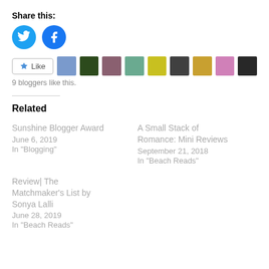Share this:
[Figure (other): Twitter and Facebook share buttons (circular blue icons)]
[Figure (other): Like button with star icon and 9 blogger avatar thumbnails]
9 bloggers like this.
Related
Sunshine Blogger Award
June 6, 2019
In "Blogging"
A Small Stack of Romance: Mini Reviews
September 21, 2018
In "Beach Reads"
Review| The Matchmaker's List by Sonya Lalli
June 28, 2019
In "Beach Reads"